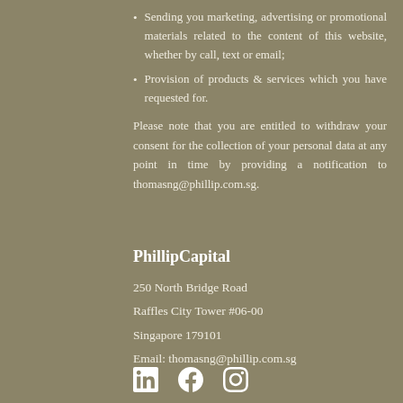Sending you marketing, advertising or promotional materials related to the content of this website, whether by call, text or email;
Provision of products & services which you have requested for.
Please note that you are entitled to withdraw your consent for the collection of your personal data at any point in time by providing a notification to thomasng@phillip.com.sg.
PhillipCapital
250 North Bridge Road
Raffles City Tower #06-00
Singapore 179101
Email: thomasng@phillip.com.sg